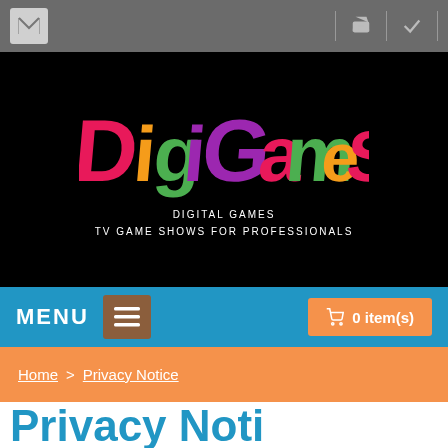[Figure (screenshot): Top navigation bar with mail icon, cart icon, and checkmark icon on grey background]
[Figure (logo): DigiGames logo on black background with colorful 3D letters. Subtitle: DIGITAL GAMES / TV GAME SHOWS FOR PROFESSIONALS]
MENU
0 item(s)
Home > Privacy Notice
Privacy Noti...